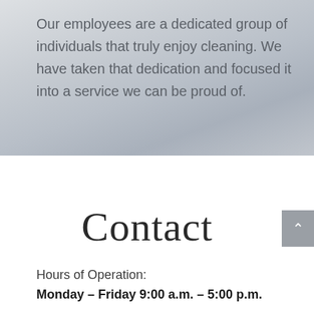Our employees are a dedicated group of individuals that truly enjoy cleaning. We have taken that dedication and focused it into a service we can be proud of.
Contact
Hours of Operation:
Monday – Friday 9:00 a.m. – 5:00 p.m.